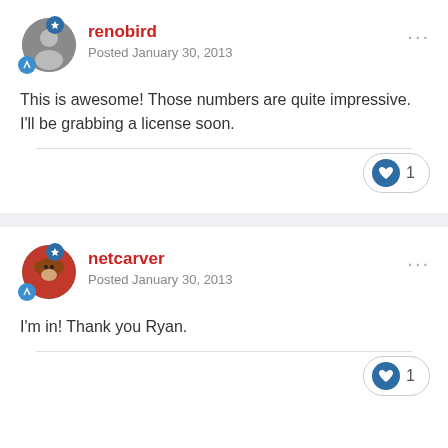renobird
Posted January 30, 2013
This is awesome! Those numbers are quite impressive. I'll be grabbing a license soon.
netcarver
Posted January 30, 2013
I'm in! Thank you Ryan.